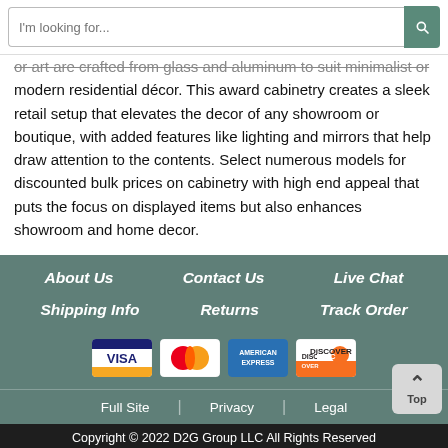I'm looking for...
or art are crafted from glass and aluminum to suit minimalist or modern residential décor. This award cabinetry creates a sleek retail setup that elevates the decor of any showroom or boutique, with added features like lighting and mirrors that help draw attention to the contents. Select numerous models for discounted bulk prices on cabinetry with high end appeal that puts the focus on displayed items but also enhances showroom and home decor.
About Us
Contact Us
Live Chat
Shipping Info
Returns
Track Order
[Figure (logo): Payment method icons: Visa, MasterCard, American Express, Discover]
Full Site | Privacy | Legal
Copyright © 2022 D2G Group LLC All Rights Reserved